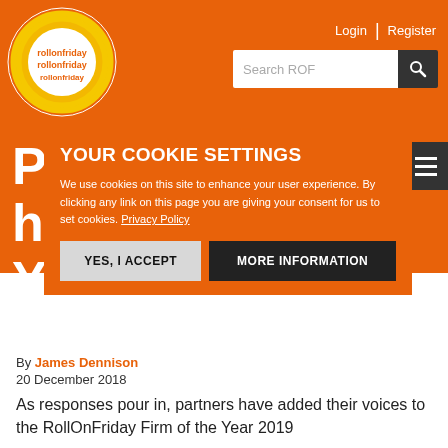RollOnFriday - Login | Register | Search ROF
[Figure (logo): RollOnFriday circular logo with yellow text on orange circle background]
Pa ha Ye
YOUR COOKIE SETTINGS
We use cookies on this site to enhance your user experience. By clicking any link on this page you are giving your consent for us to set cookies. Privacy Policy
YES, I ACCEPT   MORE INFORMATION
By James Dennison
20 December 2018
As responses pour in, partners have added their voices to the RollOnFriday Firm of the Year 2019